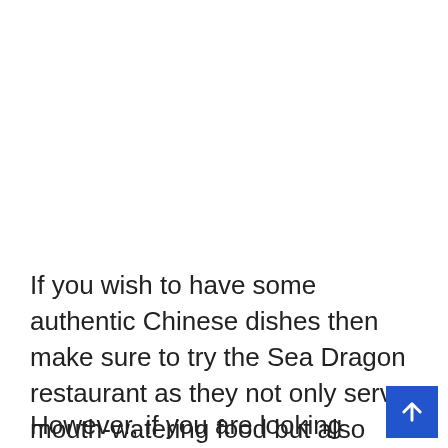If you wish to have some authentic Chinese dishes then make sure to try the Sea Dragon restaurant as they not only serve mouth-watering food but also while the guests are eating food, they can enjoy the live music played by the Forbidden Bar during the night.
However, if you are looking for breakfast options or n